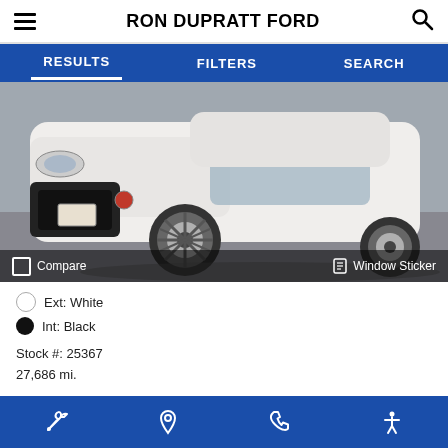RON DUPRATT FORD
RESULTS | FILTERS | SEARCH
[Figure (photo): Front-angle photo of a white Kia Soul crossover vehicle parked on a lot, with Compare and Window Sticker overlay buttons]
Ext: White
Int: Black
Stock #: 25367
27,686 mi.
Status: On Lot
Service | Location | Phone | Accessibility